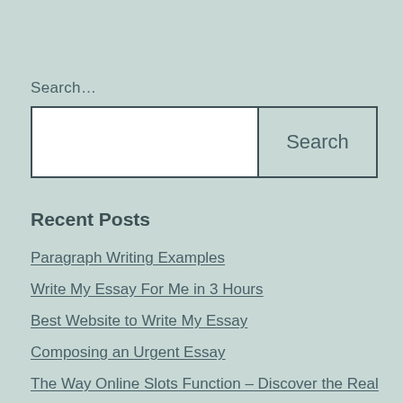Search…
[Figure (other): Search input box with a white text field on the left and a light teal button labeled 'Search' on the right, bordered in dark teal]
Recent Posts
Paragraph Writing Examples
Write My Essay For Me in 3 Hours
Best Website to Write My Essay
Composing an Urgent Essay
The Way Online Slots Function – Discover the Real